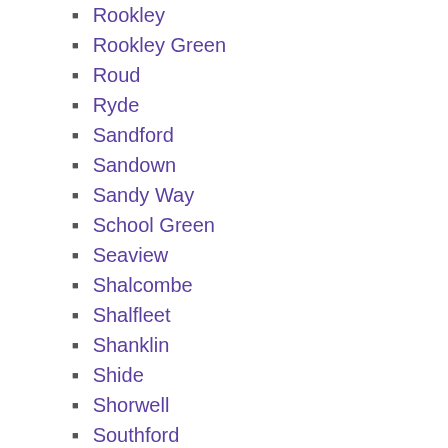Rookley
Rookley Green
Roud
Ryde
Sandford
Sandown
Sandy Way
School Green
Seaview
Shalcombe
Shalfleet
Shanklin
Shide
Shorwell
Southford
Springhill
St Helens
St Johns Park
St Lawrence